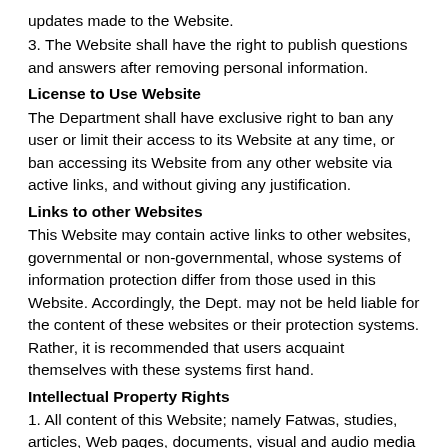updates made to the Website.
3. The Website shall have the right to publish questions and answers after removing personal information.
License to Use Website
The Department shall have exclusive right to ban any user or limit their access to its Website at any time, or ban accessing its Website from any other website via active links, and without giving any justification.
Links to other Websites
This Website may contain active links to other websites, governmental or non-governmental, whose systems of information protection differ from those used in this Website. Accordingly, the Dept. may not be held liable for the content of these websites or their protection systems. Rather, it is recommended that users acquaint themselves with these systems first hand.
Intellectual Property Rights
1. All content of this Website; namely Fatwas, studies, articles, Web pages, documents, visual and audio media are protected under effective laws, where intellectual property rights are the property of the Department fully